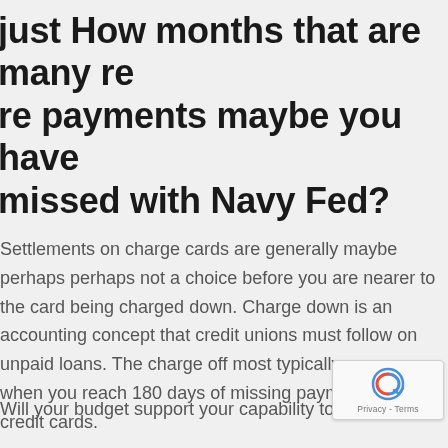just How months that are many re re payments maybe you have missed with Navy Fed?
Settlements on charge cards are generally maybe perhaps perhaps not a choice before you are nearer to the card being charged down. Charge down is an accounting concept that credit unions must follow on unpaid loans. The charge off most typically occurs when you reach 180 days of missing payments with credit cards.
Will your budget support your capability to pay for